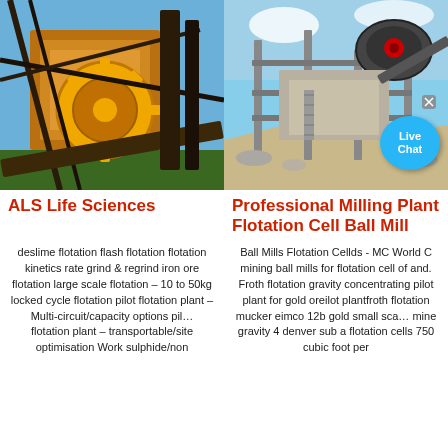[Figure (photo): Orange industrial mining machinery (ALS Life Sciences flotation equipment) with large gear wheel visible, blue sky background]
[Figure (photo): Professional milling plant with crusher/ball mill structure, conveyor belts, rocky terrain, blue sky. Live Chat bubble overlay in bottom right.]
ALS Life Sciences
Professional Milling Plant Flotation Cell Ball Mill
deslime flotation flash flotation flotation kinetics rate grind & regrind iron ore flotation large scale flotation – 10 to 50kg locked cycle flotation pilot flotation plant – Multi-circuit/capacity options pil… flotation plant – transportable/site optimisation Work sulphide/non
Ball Mills Flotation Cellds - MC World C mining ball mills for flotation cell of and. Froth flotation gravity concentrating pilot plant for gold oreilot plantfroth flotation mucker eimco 12b gold small sca… mine gravity 4 denver sub a flotation cells 750 cubic foot per